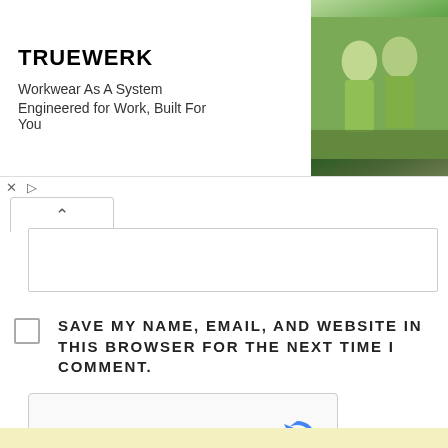[Figure (screenshot): TRUEWERK advertisement banner with logo, taglines 'Workwear As A System' and 'Engineered for Work, Built For You', and a photo of two workers in green gear]
[Figure (screenshot): Collapse/expand chevron button and text input field]
SAVE MY NAME, EMAIL, AND WEBSITE IN THIS BROWSER FOR THE NEXT TIME I COMMENT.
[Figure (screenshot): reCAPTCHA widget with checkbox and 'I'm not a robot' label]
POST COMMENT